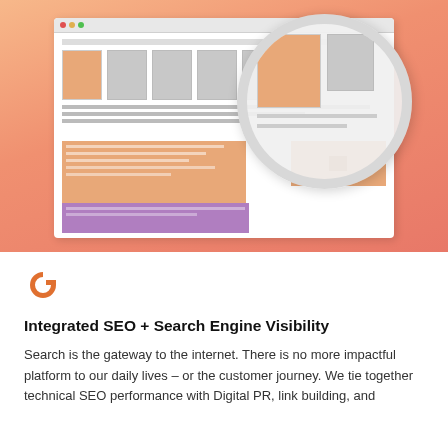[Figure (illustration): Screenshot mockup of an e-commerce product listing page shown inside a browser window with a magnifying glass overlay highlighting a product section. Set against an orange-to-salmon gradient background. The wireframe shows product thumbnails, text lines, content blocks in orange, and a purple bar at the bottom.]
[Figure (logo): Google 'G' logo in orange color]
Integrated SEO + Search Engine Visibility
Search is the gateway to the internet. There is no more impactful platform to our daily lives – or the customer journey. We tie together technical SEO performance with Digital PR, link building, and